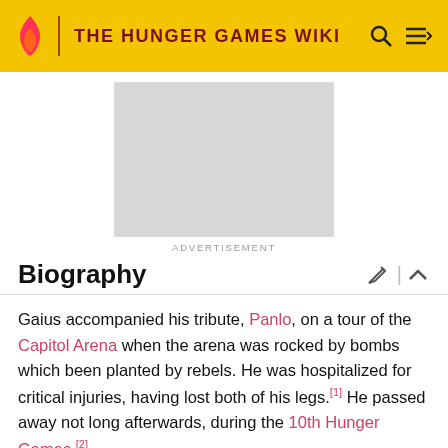THE HUNGER GAMES WIKI
[Figure (other): Advertisement placeholder (grey rectangle)]
ADVERTISEMENT
Biography
Gaius accompanied his tribute, Panlo, on a tour of the Capitol Arena when the arena was rocked by bombs which been planted by rebels. He was hospitalized for critical injuries, having lost both of his legs.[1] He passed away not long afterwards, during the 10th Hunger Games.[2]